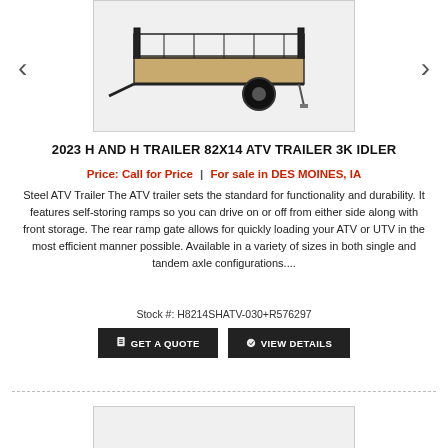[Figure (photo): Photo of 2023 H and H Trailer 82x14 ATV Trailer 3K Idler - black utility trailer with wooden deck and metal sides]
2023 H AND H TRAILER 82X14 ATV TRAILER 3K IDLER
Price: Call for Price | For sale in DES MOINES, IA
Steel ATV Trailer The ATV trailer sets the standard for functionality and durability. It features self-storing ramps so you can drive on or off from either side along with front storage. The rear ramp gate allows for quickly loading your ATV or UTV in the most efficient manner possible. Available in a variety of sizes in both single and tandem axle configurations....
Stock #: H8214SHATV-030+R576297
Get a Quote   View Details
[Figure (photo): Partial photo of second trailer listing below divider]